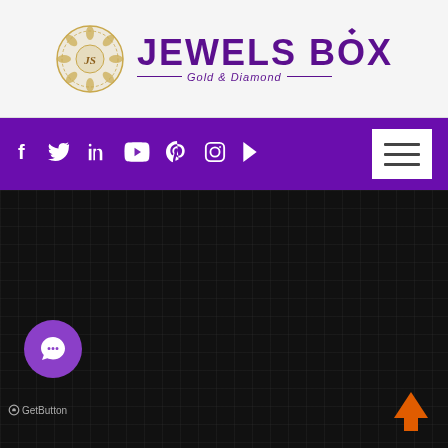[Figure (logo): Jewels Box Gold & Diamond logo with ornamental circular emblem in gold and brand name in purple]
[Figure (screenshot): Purple navigation bar with social media icons (Facebook, Twitter, LinkedIn, YouTube, Pinterest, Instagram, Play) and white hamburger menu button on the right]
[Figure (screenshot): Dark/black content area with subtle grid texture, purple chat button at lower left, GetButton label, and orange up-arrow button at lower right]